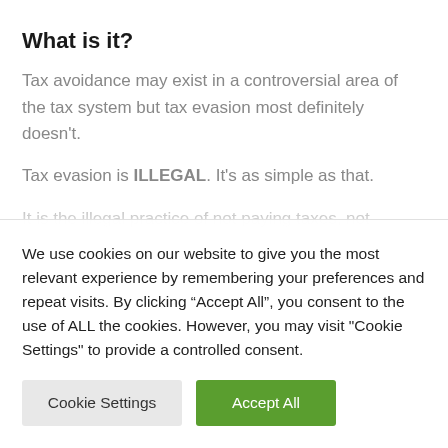What is it?
Tax avoidance may exist in a controversial area of the tax system but tax evasion most definitely doesn't.
Tax evasion is ILLEGAL. It's as simple as that.
It is the illegal practice of not paying taxes, not reporting income, reporting illegitimate expenses or
We use cookies on our website to give you the most relevant experience by remembering your preferences and repeat visits. By clicking “Accept All”, you consent to the use of ALL the cookies. However, you may visit "Cookie Settings" to provide a controlled consent.